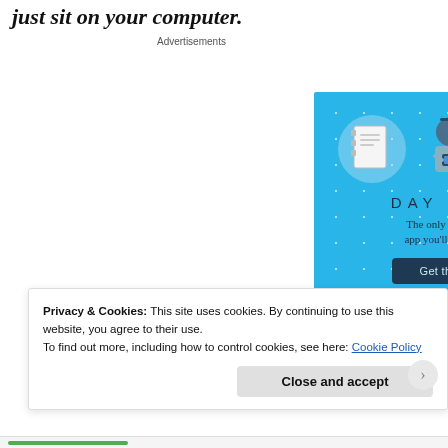just sit on your computer.
Advertisements
[Figure (illustration): Day One journaling app advertisement on a sky-blue background. Shows three circular icons (notebook, person holding phone, lined document), the text 'DAY ONE', tagline 'The only journaling app you'll ever need.', and a dark-blue 'Get the app' button.]
Privacy & Cookies: This site uses cookies. By continuing to use this website, you agree to their use.
To find out more, including how to control cookies, see here: Cookie Policy
Close and accept